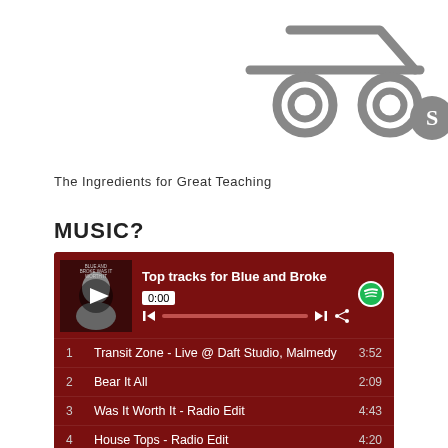[Figure (illustration): Shopping cart / trolley icon with two wheels and a small Scribd-like logo badge, drawn in gray on white background]
The Ingredients for Great Teaching
MUSIC?
[Figure (screenshot): Spotify embedded player showing Top tracks for Blue and Broke. Player header with album art, track title, 0:00 time display, playback controls and Spotify logo. Track list: 1 Transit Zone - Live @ Daft Studio, Malmedy 3:52 | 2 Bear It All 2:09 | 3 Was It Worth It - Radio Edit 4:43 | 4 House Tops - Radio Edit 4:20 | 5 House Tops - Live @ Daft Studio, Malmedy 4:52]